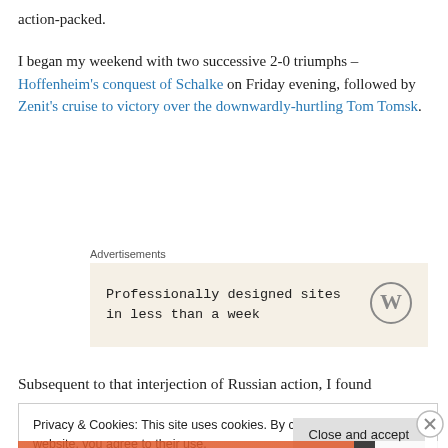action-packed.
I began my weekend with two successive 2-0 triumphs – Hoffenheim's conquest of Schalke on Friday evening, followed by Zenit's cruise to victory over the downwardly-hurtling Tom Tomsk.
Advertisements
[Figure (other): WordPress advertisement box: 'Professionally designed sites in less than a week' with WordPress logo]
Subsequent to that interjection of Russian action, I found
Privacy & Cookies: This site uses cookies. By continuing to use this website, you agree to their use.
To find out more, including how to control cookies, see here: Cookie Policy